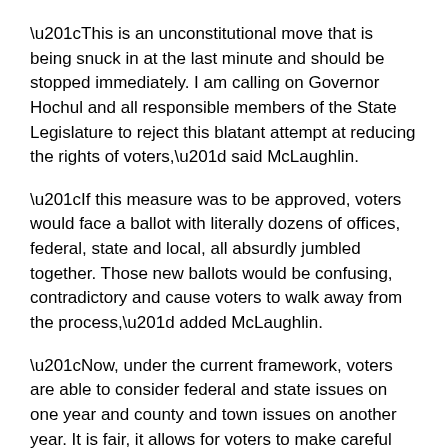“This is an unconstitutional move that is being snuck in at the last minute and should be stopped immediately. I am calling on Governor Hochul and all responsible members of the State Legislature to reject this blatant attempt at reducing the rights of voters,” said McLaughlin.
“If this measure was to be approved, voters would face a ballot with literally dozens of offices, federal, state and local, all absurdly jumbled together. Those new ballots would be confusing, contradictory and cause voters to walk away from the process,” added McLaughlin.
“Now, under the current framework, voters are able to consider federal and state issues on one year and county and town issues on another year. It is fair, it allows for voters to make careful review and informed choices and encourages more participation in the electoral process,” continued McLaughlin.
McLaughlin said he has been in contact with other county executives in the state, who share his strong